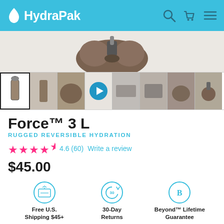HydraPak
[Figure (photo): Bottom view of HydraPak Force 3L hydration reservoir in brown/tan color, showing the bite valve and hose connection]
[Figure (photo): Thumbnail strip showing 8 product images and one video play button for HydraPak Force 3L]
Force™ 3 L
RUGGED REVERSIBLE HYDRATION
★★★★½  4.6 (60)  Write a review
$45.00
Free U.S. Shipping $45+
30-Day Returns
Beyond™ Lifetime Guarantee